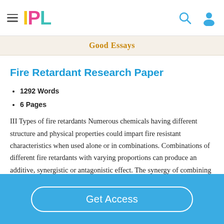IPL
Good Essays
Fire Retardant Research Paper
1292 Words
6 Pages
III Types of fire retardants Numerous chemicals having different structure and physical properties could impart fire resistant characteristics when used alone or in combinations. Combinations of different fire retardants with varying proportions can produce an additive, synergistic or antagonistic effect. The synergy of combining fire retardant chemicals has gained considerable practical
Get Access